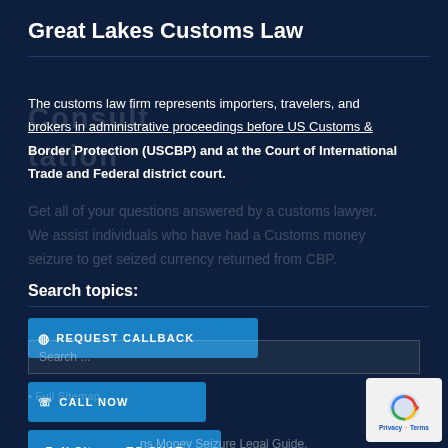Great Lakes Customs Law
The customs law firm represents importers, travelers, and brokers in administrative proceedings before US Customs & Border Protection (USCBP) and at the Court of International Trade and Federal district court.
Get all of your questions answered by a customs lawyer. We assist individuals who have had a Customs money seizure to get seized currency returned from CBP.
Search topics:
REQUEST CALLBACK
Search...
CALL NOW
Full Sitemap
TO CHAT
Detroit Office
ns Money Seizure Legal Guide.
[Figure (logo): Google Privacy badge with blue circular arrow logo icon, showing Privacy and Terms text links]